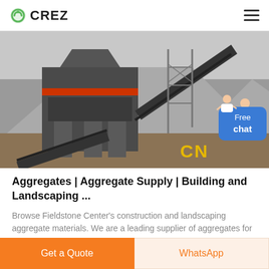CREZ
[Figure (photo): Industrial aggregate crushing machinery and conveyor belts at a quarry, with 'CN' text visible in yellow on the ground]
Aggregates | Aggregate Supply | Building and Landscaping ...
Browse Fieldstone Center's construction and landscaping aggregate materials. We are a leading supplier of aggregates for the industry in Georgia.
Get a Quote  WhatsApp